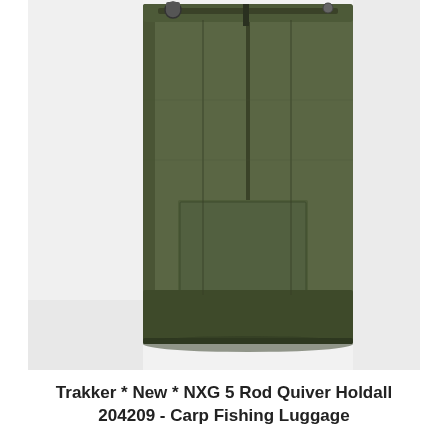[Figure (photo): Olive green / khaki Trakker NXG 5 Rod Quiver Holdall fishing rod bag photographed against a white background. The bag is tall and narrow with a zipper running along the top edge, a front pocket panel, and a shoulder strap attachment visible at the top. The bottom of the bag is reinforced with darker olive/green material.]
Trakker * New * NXG 5 Rod Quiver Holdall 204209 - Carp Fishing Luggage